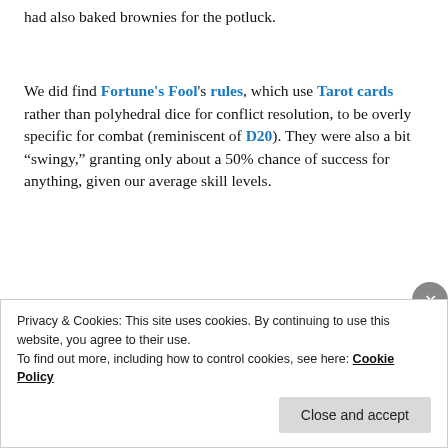had also baked brownies for the potluck.
We did find Fortune's Fool's rules, which use Tarot cards rather than polyhedral dice for conflict resolution, to be overly specific for combat (reminiscent of D20). They were also a bit “swingy,” granting only about a 50% chance of success for anything, given our average skill levels.
Privacy & Cookies: This site uses cookies. By continuing to use this website, you agree to their use.
To find out more, including how to control cookies, see here: Cookie Policy
Close and accept